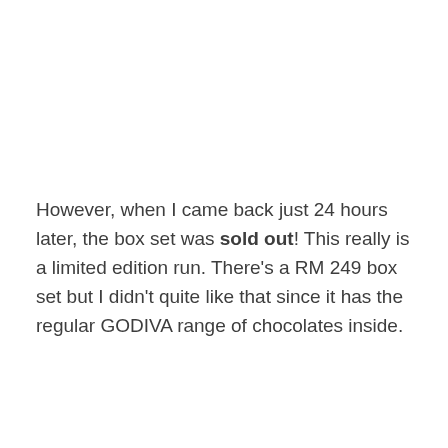However, when I came back just 24 hours later, the box set was sold out! This really is a limited edition run. There's a RM 249 box set but I didn't quite like that since it has the regular GODIVA range of chocolates inside.